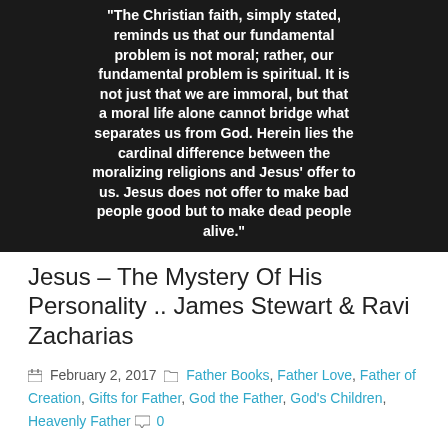[Figure (other): Dark background image with white bold text quote: "The Christian faith, simply stated, reminds us that our fundamental problem is not moral; rather, our fundamental problem is spiritual. It is not just that we are immoral, but that a moral life alone cannot bridge what separates us from God. Herein lies the cardinal difference between the moralizing religions and Jesus' offer to us. Jesus does not offer to make bad people good but to make dead people alive."]
Jesus – The Mystery Of His Personality .. James Stewart & Ravi Zacharias
February 2, 2017  Father Books, Father Love, Father of Creation, Gifts for Father, God the Father, God's Children, Heavenly Father  0